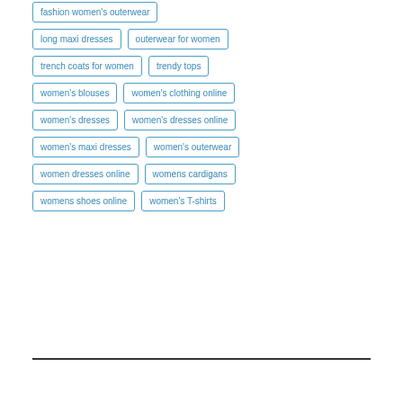fashion women's outerwear
long maxi dresses
outerwear for women
trench coats for women
trendy tops
women's blouses
women's clothing online
women's dresses
women's dresses online
women's maxi dresses
women's outerwear
women dresses online
womens cardigans
womens shoes online
women's T-shirts